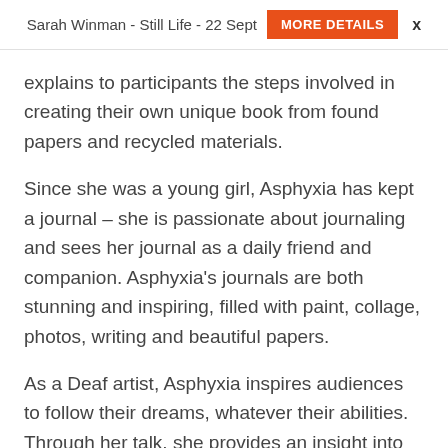Sarah Winman - Still Life - 22 Sept  MORE DETAILS  x
explains to participants the steps involved in creating their own unique book from found papers and recycled materials.
Since she was a young girl, Asphyxia has kept a journal – she is passionate about journaling and sees her journal as a daily friend and companion. Asphyxia's journals are both stunning and inspiring, filled with paint, collage, photos, writing and beautiful papers.
As a Deaf artist, Asphyxia inspires audiences to follow their dreams, whatever their abilities. Through her talk, she provides an insight into the expressiveness of sign language and encourages audiences to create, to